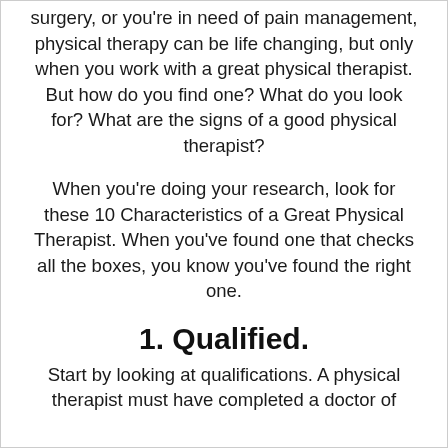surgery, or you're in need of pain management, physical therapy can be life changing, but only when you work with a great physical therapist. But how do you find one? What do you look for? What are the signs of a good physical therapist?
When you're doing your research, look for these 10 Characteristics of a Great Physical Therapist. When you've found one that checks all the boxes, you know you've found the right one.
1. Qualified.
Start by looking at qualifications. A physical therapist must have completed a doctor of